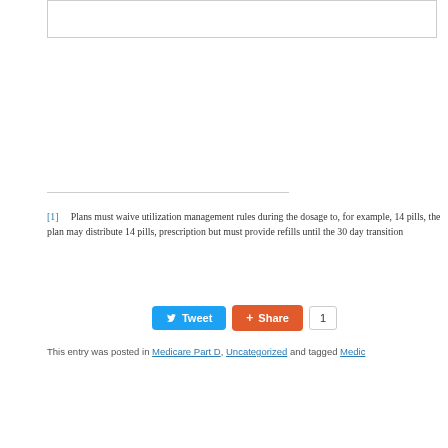[Figure (other): Partial bordered box at top of page, likely a search or input field]
[1]  Plans must waive utilization management rules during the dosage to, for example, 14 pills, the plan may distribute 14 pills prescription but must provide refills until the 30 day transition
Tweet  Share  1
This entry was posted in Medicare Part D, Uncategorized and tagged Medic